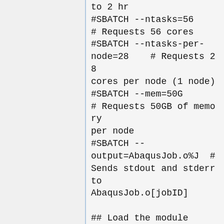to 2 hr
#SBATCH --ntasks=56
# Requests 56 cores
#SBATCH --ntasks-per-node=28    # Requests 28 cores per node (1 node)
#SBATCH --mem=50G
# Requests 50GB of memory per node
#SBATCH --output=AbaqusJob.o%J  # Sends stdout and stderr to AbaqusJob.o[jobID]

## Load the module
module purge
module load ABAQUS/2017

# setup host list for ABAQUS
slurm_setup_abaqus.sh

## Launch Abaqus with proper parameters
abaqus memory="50GB"